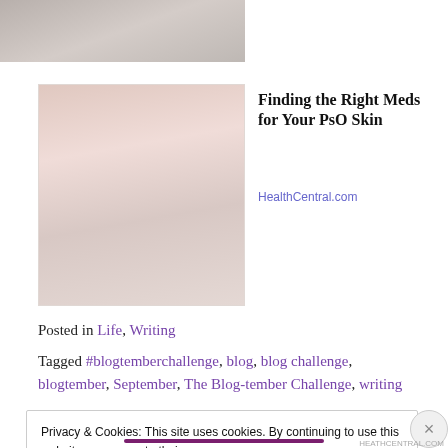[Figure (photo): Partial view of a medical/skin-related image at the top of the page, cropped]
[Figure (photo): Thumbnail image of hands with psoriasis skin condition, pinkish tones]
Finding the Right Meds for Your PsO Skin
HealthCentral.com
Posted in Life, Writing
Tagged #blogtemberchallenge, blog, blog challenge, blogtember, September, The Blog-tember Challenge, writing
Privacy & Cookies: This site uses cookies. By continuing to use this website, you agree to their use.
To find out more, including how to control cookies, see here: Cookie Policy
Close and accept